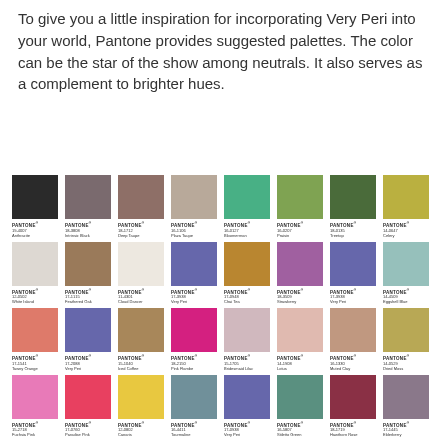To give you a little inspiration for incorporating Very Peri into your world, Pantone provides suggested palettes. The color can be the star of the show among neutrals. It also serves as a complement to brighter hues.
[Figure (infographic): Grid of 32 Pantone color swatches arranged in 4 rows of 8, each showing a colored square with the Pantone logo, color code, and color name below it. Colors include Anthracite, Intrinsic Black, Deep Taupe, Plaza Taupe, Bloomerman, Praisin, Treetop, Celery, White Island, Feathered Oak, Cloud Dancer, Very Peri, Chai Tea, Strawberry, Very Peri, Eggshell Blue, Tawny Orange, Very Peri, Iced Coffee, Pink Flambe, Bridesmaid Lilac, Lotus, Muted Clay, Dried Moss, Fuchsia Pink, Paradise Pink, Canaris, Tourmaline, Very Peri, Stiletto Green, Hawthorn Rose, Elderberry.]